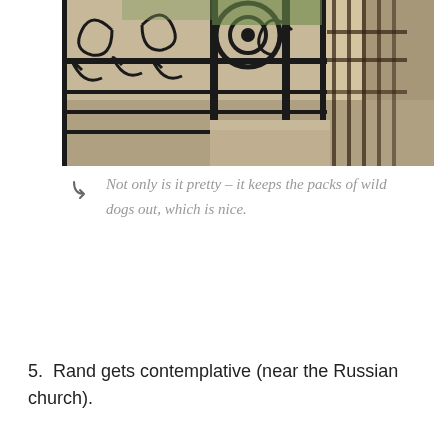[Figure (photo): Photo of ornate wrought iron gate with decorative scrollwork, casting shadows on a stone wall. A courtyard or path is visible beyond the open gate.]
Not only is it pretty – it keeps the packs of wild dogs out, which is nice.
5. Rand gets contemplative (near the Russian church).